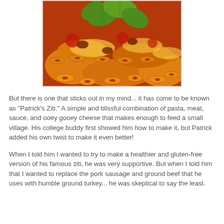[Figure (photo): Close-up photo of baked ziti pasta with tomato sauce, meat, cheese, and fresh basil leaves on top.]
But there is one that sticks out in my mind... it has come to be known as "Patrick's Ziti." A simple and blissful combination of pasta, meat, sauce, and ooey gooey cheese that makes enough to feed a small village. His college buddy first showed him how to make it, but Patrick added his own twist to make it even better!
When I told him I wanted to try to make a healthier and gluten-free version of his famous ziti, he was very supportive. But when I told him that I wanted to replace the pork sausage and ground beef that he uses with humble ground turkey... he was skeptical to say the least.